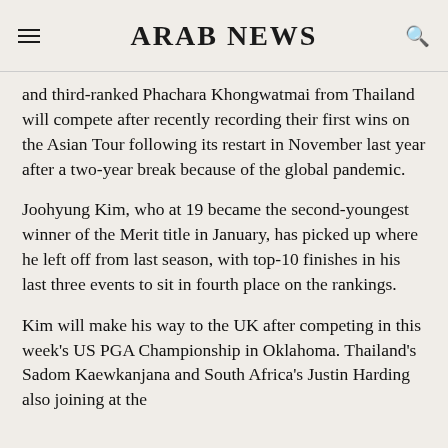ARAB NEWS
and third-ranked Phachara Khongwatmai from Thailand will compete after recently recording their first wins on the Asian Tour following its restart in November last year after a two-year break because of the global pandemic.
Joohyung Kim, who at 19 became the second-youngest winner of the Merit title in January, has picked up where he left off from last season, with top-10 finishes in his last three events to sit in fourth place on the rankings.
Kim will make his way to the UK after competing in this week's US PGA Championship in Oklahoma. Thailand's Sadom Kaewkanjana and South Africa's Justin Harding also joining at the